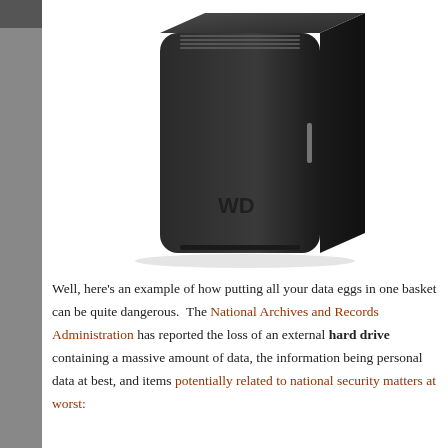Log in  Site  Comments
[Figure (photo): A Western Digital (WD) external hard drive, black, standing upright against a white background]
Well, here’s an example of how putting all your data eggs in one basket can be quite dangerous.  The National Archives and Records Administration has reported the loss of an external hard drive containing a massive amount of data, the information being personal data at best, and items potentially related to national security matters at worst: